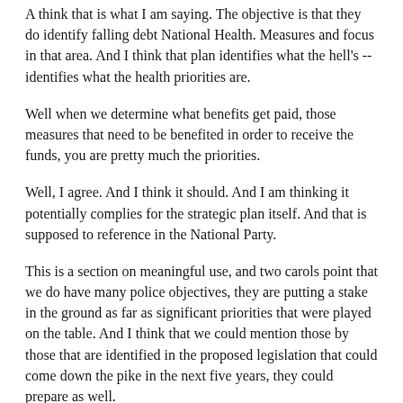A think that is what I am saying. The objective is that they do identify falling debt National Health. Measures and focus in that area. And I think that plan identifies what the hell's -- identifies what the health priorities are.
Well when we determine what benefits get paid, those measures that need to be benefited in order to receive the funds, you are pretty much the priorities.
Well, I agree. And I think it should. And I am thinking it potentially complies for the strategic plan itself. And that is supposed to reference in the National Party.
This is a section on meaningful use, and two carols point that we do have many police objectives, they are putting a stake in the ground as far as significant priorities that were played on the table. And I think that we could mention those by those that are identified in the proposed legislation that could come down the pike in the next five years, they could prepare as well.
So I'd think that your point is taken, there is already a stake in the ground as far as meaningful use objective is as to what those priorities are, and maybe we could referenced Those,.